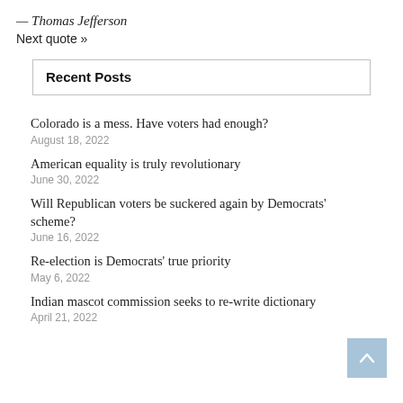— Thomas Jefferson
Next quote »
Recent Posts
Colorado is a mess. Have voters had enough?
August 18, 2022
American equality is truly revolutionary
June 30, 2022
Will Republican voters be suckered again by Democrats' scheme?
June 16, 2022
Re-election is Democrats' true priority
May 6, 2022
Indian mascot commission seeks to re-write dictionary
April 21, 2022